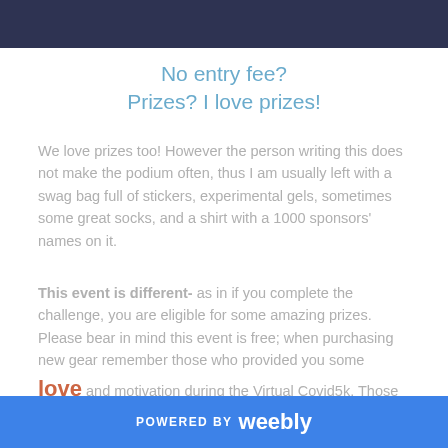No entry fee?
Prizes?  I love prizes!
We love prizes too!  However the person writing this does not make the podium often, thus I am usually left with a swag bag full of stickers, experimental gels, sometimes some great socks, and a shirt with a 1000 sponsors' names on it.
This event is different- as in if you complete the challenge, you are eligible for some amazing prizes.  Please bear in mind this event is free; when purchasing new gear remember those who provided you some love and motivation during the Virtual Covid5k. Those  providing the love are:
POWERED BY weebly